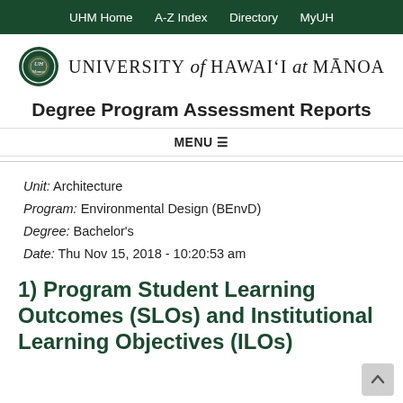UHM Home   A-Z Index   Directory   MyUH
[Figure (logo): University of Hawaii at Manoa seal logo with text 'University of Hawai'i at Manoa']
Degree Program Assessment Reports
MENU
Unit: Architecture
Program: Environmental Design (BEnvD)
Degree: Bachelor's
Date: Thu Nov 15, 2018 - 10:20:53 am
1) Program Student Learning Outcomes (SLOs) and Institutional Learning Objectives (ILOs)